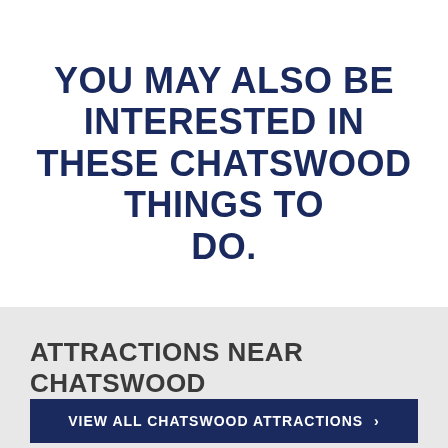YOU MAY ALSO BE INTERESTED IN THESE CHATSWOOD THINGS TO DO.
ATTRACTIONS NEAR CHATSWOOD
VIEW ALL CHATSWOOD ATTRACTIONS >